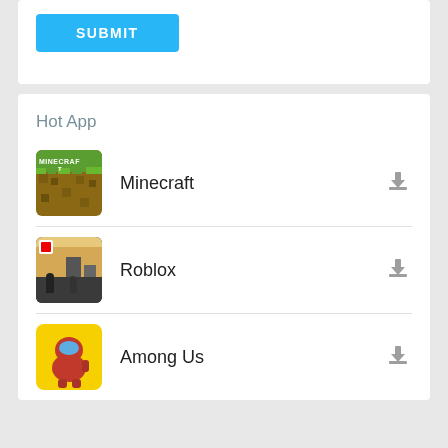[Figure (screenshot): SUBMIT button in blue]
Hot App
Minecraft
Roblox
Among Us